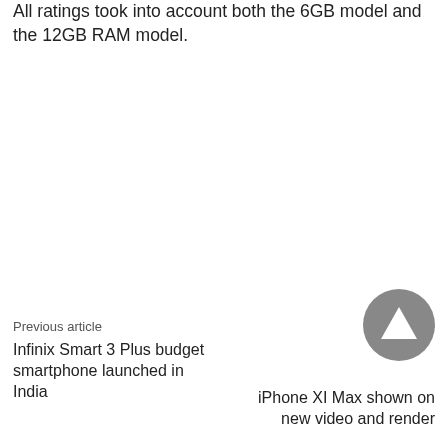All ratings took into account both the 6GB model and the 12GB RAM model.
Previous article
Infinix Smart 3 Plus budget smartphone launched in India
Next article
iPhone XI Max shown on new video and render